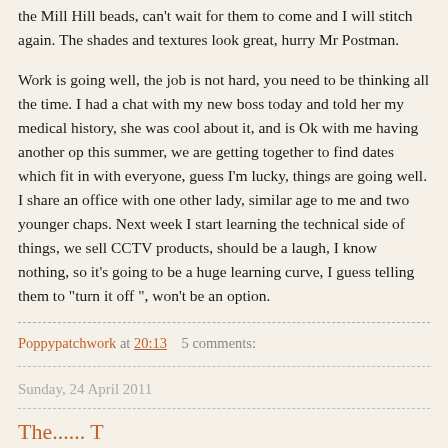the Mill Hill beads, can't wait for them to come and I will stitch again. The shades and textures look great, hurry Mr Postman.
Work is going well, the job is not hard, you need to be thinking all the time. I had a chat with my new boss today and told her my medical history, she was cool about it, and is Ok with me having another op this summer, we are getting together to find dates which fit in with everyone, guess I'm lucky, things are going well. I share an office with one other lady, similar age to me and two younger chaps. Next week I start learning the technical side of things, we sell CCTV products, should be a laugh, I know nothing, so it's going to be a huge learning curve, I guess telling them to "turn it off ", won't be an option.
Poppypatchwork at 20:13    5 comments:
Sunday, 24 April 2011
The...